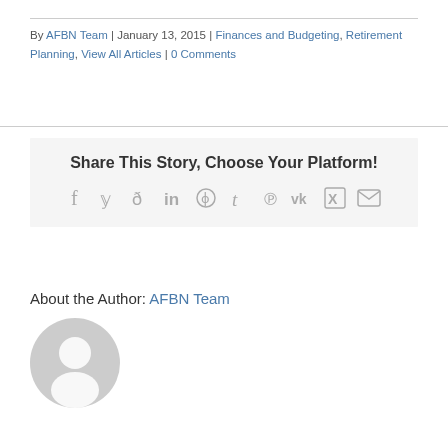By AFBN Team | January 13, 2015 | Finances and Budgeting, Retirement Planning, View All Articles | 0 Comments
[Figure (infographic): Share This Story, Choose Your Platform! with social media icons: Facebook, Twitter, Reddit, LinkedIn, WhatsApp, Tumblr, Pinterest, VK, Xing, Email]
About the Author: AFBN Team
[Figure (illustration): Generic gray avatar/profile photo placeholder with circular silhouette of a person]